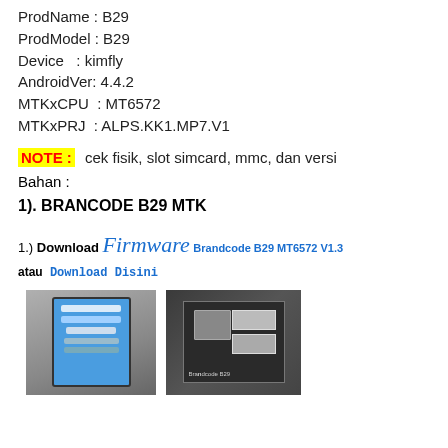ProdName : B29
ProdModel : B29
Device   : kimfly
AndroidVer: 4.4.2
MTKxCPU   : MT6572
MTKxPRJ   : ALPS.KK1.MP7.V1
NOTE: cek fisik, slot simcard, mmc, dan versi
Bahan :
1). BRANCODE B29 MTK
1.) Download Firmware Brandcode B29 MT6572 V1.3
atau Download Disini
[Figure (photo): Photo of a Brandcode B29 smartphone displaying its Android info screen]
[Figure (photo): Photo of Brandcode B29 circuit board showing SIM card slots and chipset]